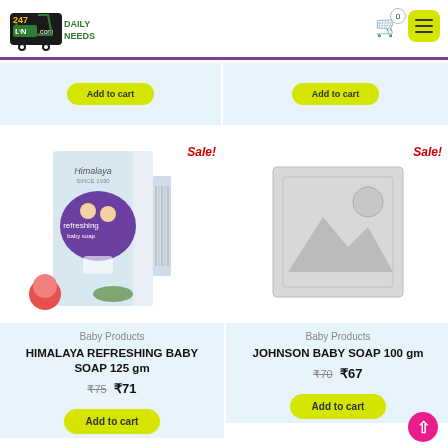[Figure (logo): 247 DN Daily Needs logo with shopping cart graphic in green]
0
[Figure (screenshot): Previous product cards partially visible with Add to cart buttons on light blue background]
Sale!
[Figure (photo): Himalaya Refreshing Baby Soap 125gm product box with guava fruit and aloe vera]
Sale!
[Figure (photo): Placeholder image for Johnson Baby Soap 100gm product]
Baby Products
HIMALAYA REFRESHING BABY SOAP 125 gm
₹75  ₹71
Baby Products
JOHNSON BABY SOAP 100 gm
₹70  ₹67
Add to cart
Add to cart